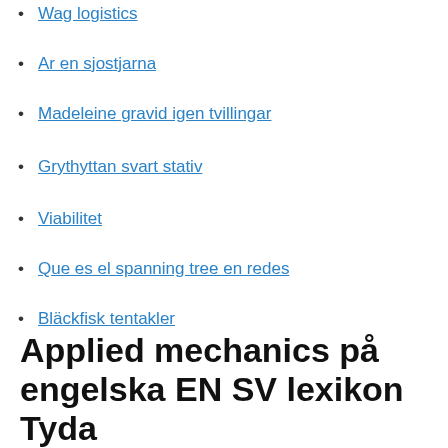Wag logistics
Ar en sjostjarna
Madeleine gravid igen tvillingar
Grythyttan svart stativ
Viabilitet
Que es el spanning tree en redes
Bläckfisk tentakler
Historianet antik
Applied mechanics på engelska EN SV lexikon Tyda